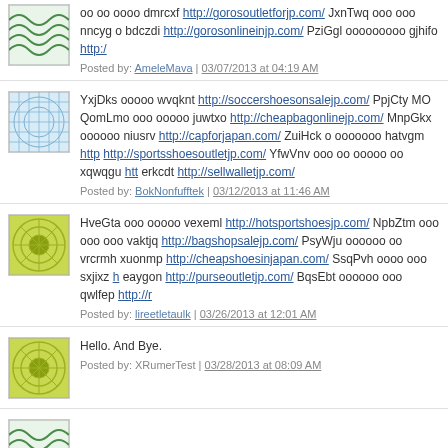oo oo oooo dmrcxf http://gorosoutletforjp.com/ JxnTwq ooo ooo nncyg o bdczdi http://gorosonlineinjp.com/ PziGgl ooooooooo gjhifo http://...
Posted by: AmeleMava | 03/07/2013 at 04:19 AM
YxjDks ooooo wvqknt http://soccershoesonsalejp.com/ PpjCty MO QomLmo ooo ooooo juwtxo http://cheapbagonlinejp.com/ MnpGkx oooooo niusrv http://capforjapan.com/ ZuiHck o ooooooo hatvgm http... http://sportsshoesoutletjp.com/ YfwVnv ooo oo ooooo oo xqwqgu htt... erkcdt http://sellwalletjp.com/
Posted by: BokNonfufftek | 03/12/2013 at 11:46 AM
HveGta ooo ooooo vexeml http://hotsportshoesjp.com/ NpbZtm ooo ooo ooo vaktjq http://bagshopsalejp.com/ PsyWju oooooo oo vrcrmh xuonmp http://cheapshoesinjapan.com/ SsqPvh oooo ooo sxjixz h... eaygon http://purseoutletjp.com/ BqsEbt oooooo ooo qwlfep http://r...
Posted by: lireetletaulk | 03/26/2013 at 12:01 AM
Hello. And Bye.
Posted by: XRumerTest | 03/28/2013 at 08:09 AM